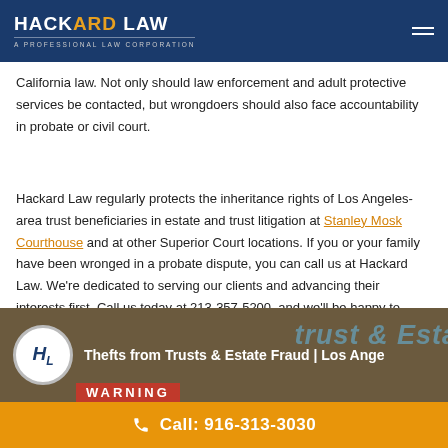HACKARD LAW – A Professional Law Corporation
California law. Not only should law enforcement and adult protective services be contacted, but wrongdoers should also face accountability in probate or civil court.
Hackard Law regularly protects the inheritance rights of Los Angeles-area trust beneficiaries in estate and trust litigation at Stanley Mosk Courthouse and at other Superior Court locations. If you or your family have been wronged in a probate dispute, you can call us at Hackard Law. We're dedicated to serving our clients and advancing their interests first. Call us today at 213-357-5200, and we'll be happy to listen to your story.
[Figure (screenshot): Video thumbnail showing HL badge logo and text: Thefts from Trusts & Estate Fraud | Los Angeles, with a WARNING sign overlay and blue trust/estate text in background]
Call: 916-313-3030